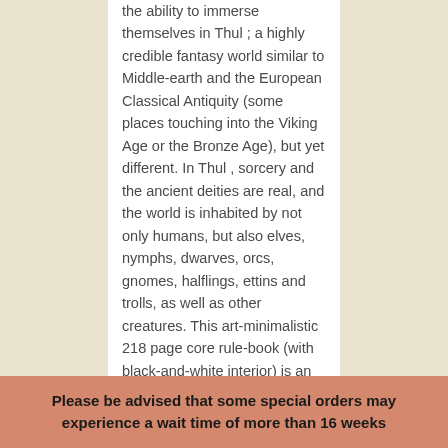the ability to immerse themselves in Thul ; a highly credible fantasy world similar to Middle-earth and the European Classical Antiquity (some places touching into the Viking Age or the Bronze Age), but yet different. In Thul , sorcery and the ancient deities are real, and the world is inhabited by not only humans, but also elves, nymphs, dwarves, orcs, gnomes, halflings, ettins and trolls, as well as other creatures. This art-minimalistic 218 page core rule-book (with black-and-white interior) is an all-in-one rule-book, so it contains all the information you need to play the game (and to make your own adventures and campaigns) indefinitely. A digital high resolution map of Thul can be
Please be advised that some special orders may experience a wait time of more than 16 weeks